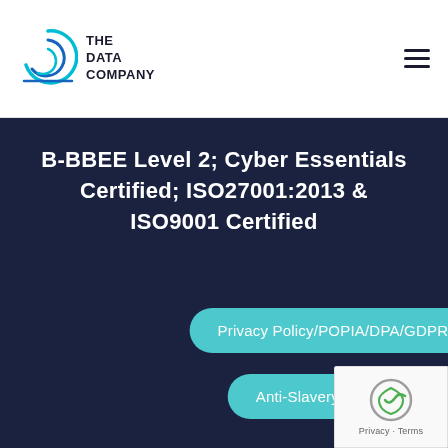[Figure (logo): The Data Company logo with circular arrow graphic on the left and company name text on the right]
B-BBEE Level 2; Cyber Essentials Certified; ISO27001:2013 & ISO9001 Certified
Privacy Policy/POPIA/DPA/GDPR
Anti-Slavery Policy